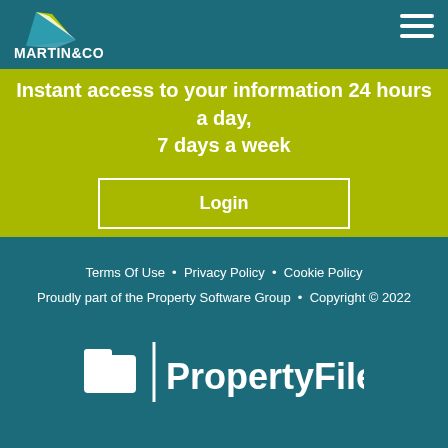[Figure (logo): Martin & Co logo with paper airplane icon and text MARTIN&CO in white on teal background]
Instant access to your information 24 hours a day, 7 days a week
Login
Terms Of Use • Privacy Policy • Cookie Policy
Proudly part of the Property Software Group • Copyright © 2022
[Figure (logo): PropertyFile logo with folder icon and text PropertyFile in white]